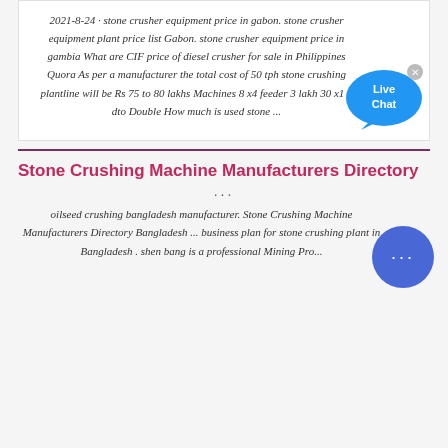2021-8-24 · stone crusher equipment price in gabon. stone crusher equipment plant price list Gabon. stone crusher equipment price in gambia What are CIF price of diesel crusher for sale in Philippines Quora As per a manufacturer the total cost of 50 tph stone crushing plantline will be Rs 75 to 80 lakhs Machines 8 x4 feeder 3 lakh 30 x1 5 dto Double How much is used stone ...
[Figure (illustration): Blue speech bubble with 'Live Chat' text and a small X close button]
Stone Crushing Machine Manufacturers Directory ...
oilseed crushing bangladesh manufacturer. Stone Crushing Machine Manufacturers Directory Bangladesh ... business plan for stone crushing plant in Bangladesh . shen bang is a professional Mining Pro...
[Figure (illustration): Blue circular chat button with three dots]